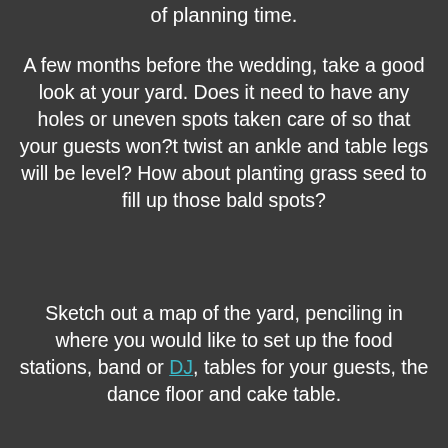of planning time.
A few months before the wedding, take a good look at your yard. Does it need to have any holes or uneven spots taken care of so that your guests won?t twist an ankle and table legs will be level? How about planting grass seed to fill up those bald spots?
Sketch out a map of the yard, penciling in where you would like to set up the food stations, band or DJ, tables for your guests, the dance floor and cake table.